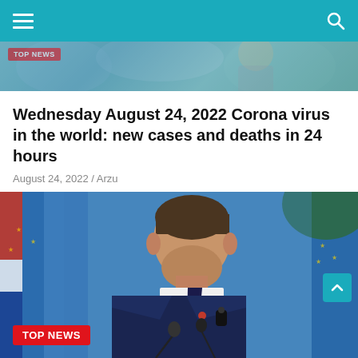Navigation header with hamburger menu and search icon
[Figure (photo): Partial top image strip showing a scene with TOP NEWS badge overlay]
Wednesday August 24, 2022 Corona virus in the world: new cases and deaths in 24 hours
August 24, 2022 / Arzu
[Figure (photo): Photo of Emmanuel Macron in a dark suit and tie standing at a microphone with blue EU flags in the background and a TOP NEWS badge in the lower left corner]